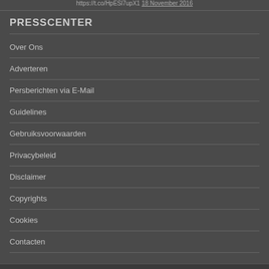https://t.co/HpESl7upX1  18 November 2016
PRESSCENTER
Over Ons
Adverteren
Persberichten via E-Mail
Guidelines
Gebruiksvoorwaarden
Privacybeleid
Disclaimer
Copyrights
Cookies
Contacten